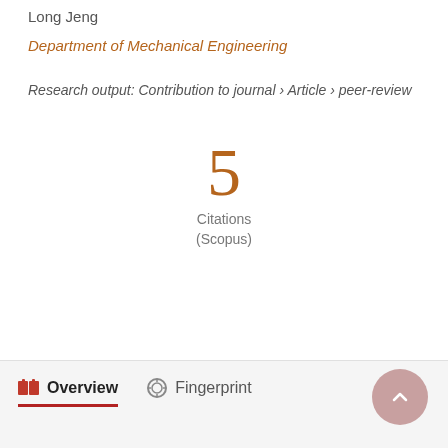Long Jeng
Department of Mechanical Engineering
Research output: Contribution to journal › Article › peer-review
5
Citations
(Scopus)
Overview   Fingerprint